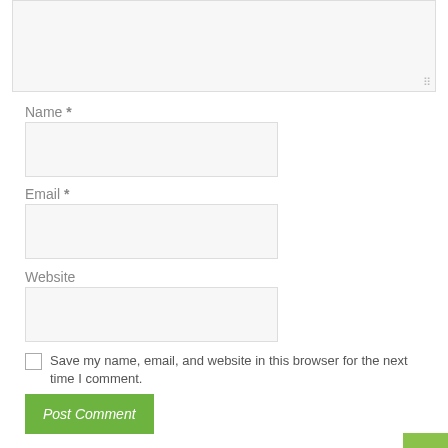[Figure (screenshot): Top portion of a textarea form input with resize handle, light gray background]
Name *
[Figure (screenshot): Name text input field, empty, light gray background]
Email *
[Figure (screenshot): Email text input field, empty, light gray background]
Website
[Figure (screenshot): Website text input field, empty, light gray background]
Save my name, email, and website in this browser for the next time I comment.
Post Comment
Search